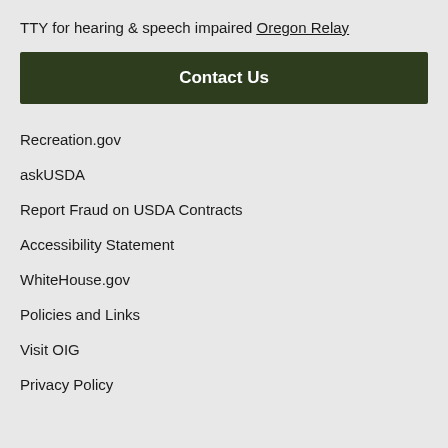TTY for hearing & speech impaired Oregon Relay
Contact Us
Recreation.gov
askUSDA
Report Fraud on USDA Contracts
Accessibility Statement
WhiteHouse.gov
Policies and Links
Visit OIG
Privacy Policy